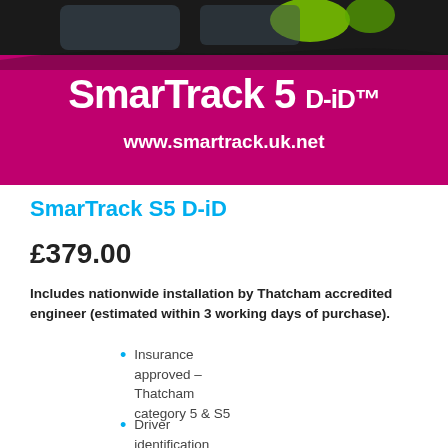[Figure (photo): SmarTrack 5 D-iD banner with car image background and magenta/pink overlay showing brand name and website URL]
SmarTrack S5 D-iD
£379.00
Includes nationwide installation by Thatcham accredited engineer (estimated within 3 working days of purchase).
Insurance approved – Thatcham category 5 & S5
Driver identification